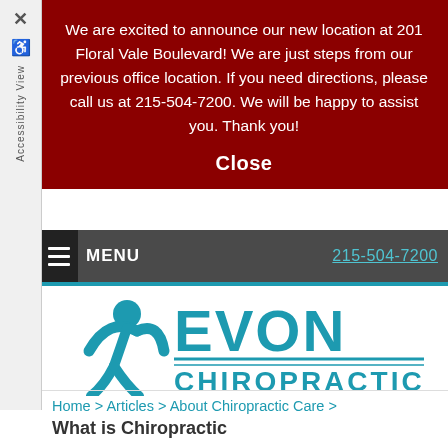We are excited to announce our new location at 201 Floral Vale Boulevard! We are just steps from our previous office location. If you need directions, please call us at 215-504-7200. We will be happy to assist you. Thank you!
Close
MENU  215-504-7200
[Figure (logo): Evon Chiropractic logo with teal figure and text]
Home > Articles > About Chiropractic Care > What is Chiropractic